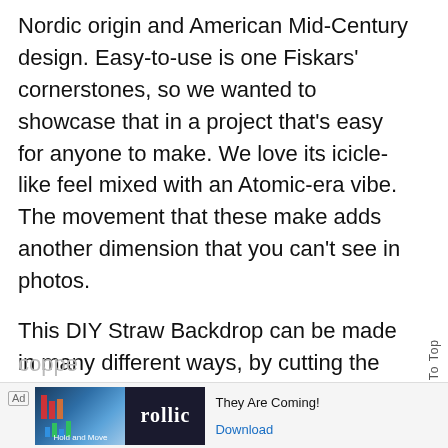Nordic origin and American Mid-Century design. Easy-to-use is one Fiskars' cornerstones, so we wanted to showcase that in a project that's easy for anyone to make. We love its icicle-like feel mixed with an Atomic-era vibe. The movement that these make adds another dimension that you can't see in photos.
This DIY Straw Backdrop can be made in many different ways, by cutting the straws in different lengths, in half for a more delicate look, using colored or patterns straws or painting them with spray paint (an easy solution if you want a specific color or finish such as gold or metallic coppe
[Figure (screenshot): Advertisement banner at the bottom of the page showing an ad with 'Ad' label, a blue-toned graphic with bar charts, a dark logo block with 'rollic' text, and text 'They Are Coming!' with a 'Download' link.]